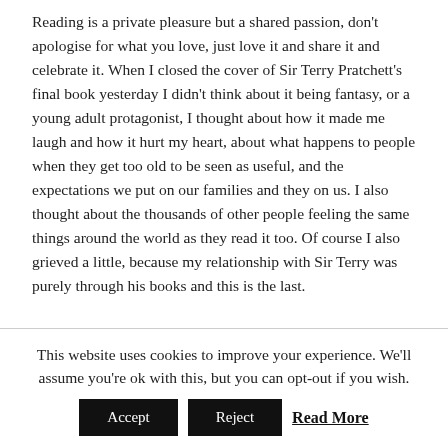Reading is a private pleasure but a shared passion, don't apologise for what you love, just love it and share it and celebrate it. When I closed the cover of Sir Terry Pratchett's final book yesterday I didn't think about it being fantasy, or a young adult protagonist, I thought about how it made me laugh and how it hurt my heart, about what happens to people when they get too old to be seen as useful, and the expectations we put on our families and they on us. I also thought about the thousands of other people feeling the same things around the world as they read it too. Of course I also grieved a little, because my relationship with Sir Terry was purely through his books and this is the last.
This website uses cookies to improve your experience. We'll assume you're ok with this, but you can opt-out if you wish.
Accept  Reject  Read More